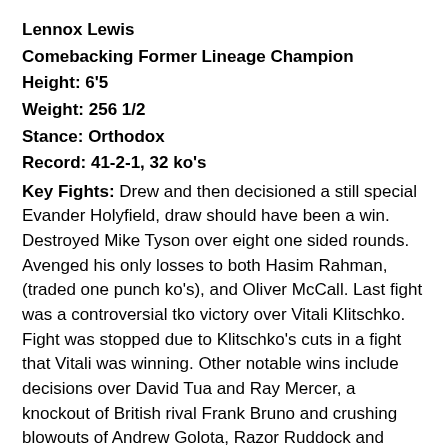Lennox Lewis
Comebacking Former Lineage Champion
Height: 6'5
Weight: 256 1/2
Stance: Orthodox
Record: 41-2-1, 32 ko's
Key Fights: Drew and then decisioned a still special Evander Holyfield, draw should have been a win. Destroyed Mike Tyson over eight one sided rounds. Avenged his only losses to both Hasim Rahman, (traded one punch ko's), and Oliver McCall. Last fight was a controversial tko victory over Vitali Klitschko. Fight was stopped due to Klitschko's cuts in a fight that Vitali was winning. Other notable wins include decisions over David Tua and Ray Mercer, a knockout of British rival Frank Bruno and crushing blowouts of Andrew Golota, Razor Ruddock and Michael Grant.
Strengths: Devastating right cross is perhaps the biggest in the division, devastating uppercuts, awesome size and